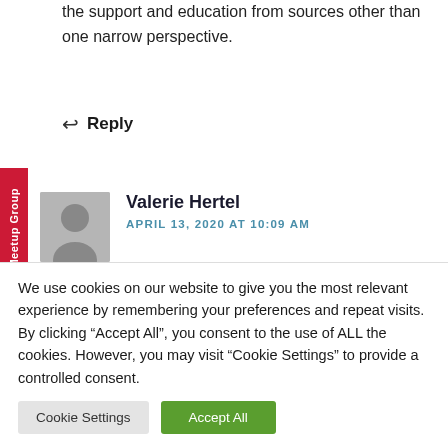the support and education from sources other than one narrow perspective.
↩ Reply
Valerie Hertel
APRIL 13, 2020 AT 10:09 AM
This article is one of the most valuable I have ever read. My own emotions in my new (but now
We use cookies on our website to give you the most relevant experience by remembering your preferences and repeat visits. By clicking "Accept All", you consent to the use of ALL the cookies. However, you may visit "Cookie Settings" to provide a controlled consent.
Cookie Settings
Accept All